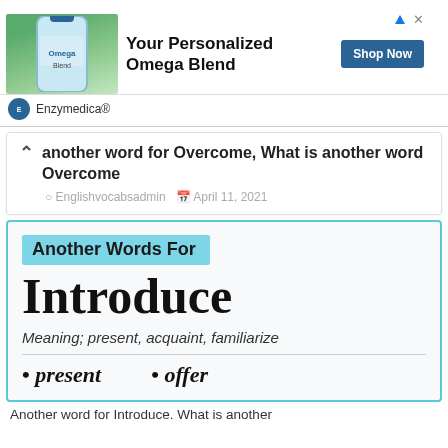[Figure (photo): Advertisement banner: hand holding a supplement bottle against green plant background, with text 'Your Personalized Omega Blend' and 'Shop Now' button, branded by Enzymedica®]
Another word for Overcome, What is another word Overcome
Englishvocabsadmin  April 11, 2021
Another Words For
Introduce
Meaning; present, acquaint, familiarize
• present   • offer
Another word for Introduce. What is another